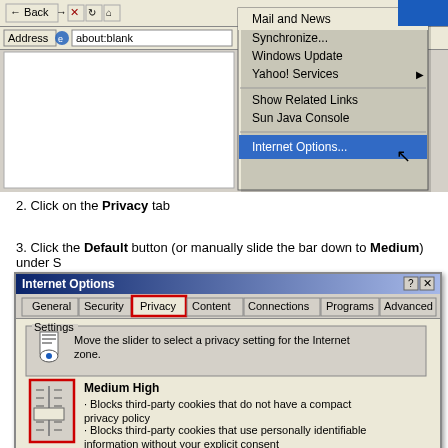[Figure (screenshot): Internet Explorer browser window showing a right-click context menu with options including Mail and News, Synchronize, Windows Update, Yahoo! Services, Show Related Links, Sun Java Console, and Internet Options (highlighted in blue). Address bar shows 'about:blank'.]
2. Click on the Privacy tab
3. Click the Default button (or manually slide the bar down to Medium) under S
[Figure (screenshot): Internet Options dialog box showing the Privacy tab selected (highlighted with red border). Settings section shows a slider set to Medium High with description text. Privacy icon shown on left.]